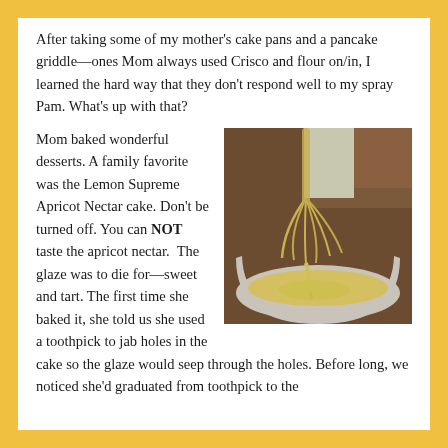After taking some of my mother's cake pans and a pancake griddle—ones Mom always used Crisco and flour on/in, I learned the hard way that they don't respond well to my spray Pam. What's up with that?
Mom baked wonderful desserts. A family favorite was the Lemon Supreme Apricot Nectar cake. Don't be turned off. You can NOT taste the apricot nectar. The glaze was to die for—sweet and tart. The first time she baked it, she told us she used a toothpick to jab holes in the cake so the glaze would seep through the holes. Before long, we noticed she'd graduated from toothpick to the
[Figure (photo): A photo of a whisk dripping yellow cake batter into a bowl, with a granite countertop visible in the background.]